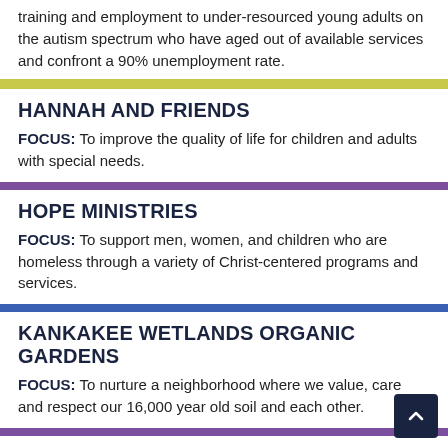training and employment to under-resourced young adults on the autism spectrum who have aged out of available services and confront a 90% unemployment rate.
HANNAH AND FRIENDS
FOCUS: To improve the quality of life for children and adults with special needs.
HOPE MINISTRIES
FOCUS: To support men, women, and children who are homeless through a variety of Christ-centered programs and services.
KANKAKEE WETLANDS ORGANIC GARDENS
FOCUS: To nurture a neighborhood where we value, care and respect our 16,000 year old soil and each other.
LIFE TREATMENT CENTERS, INC.
FOCUS: To strengthen our community by positively impacting the lives of men and women afflicted with various forms of addiction.